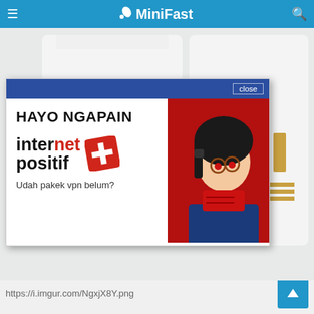MiniFast
[Figure (screenshot): Screenshot of a mobile app page showing a product page (white and gold sports jerseys) with a popup overlay. The popup has a blue header with 'close' button, and shows an internet positif advertisement with text 'HAYO NGAPAIN', 'internet positif' logo with red Swiss cross, and 'Udah pakek vpn belum?' text, alongside an anime character illustration.]
https://i.imgur.com/NgxjX8Y.png